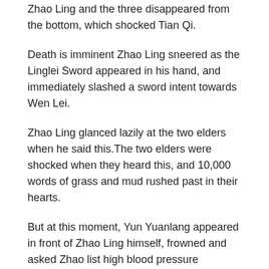Zhao Ling and the three disappeared from the bottom, which shocked Tian Qi.
Death is imminent Zhao Ling sneered as the Linglei Sword appeared in his hand, and immediately slashed a sword intent towards Wen Lei.
Zhao Ling glanced lazily at the two elders when he said this.The two elders were shocked when they heard this, and 10,000 words of grass and mud rushed past in their hearts.
But at this moment, Yun Yuanlang appeared in front of Zhao Ling himself, frowned and asked Zhao list high blood pressure medications Ling, What is the panic Now many major forces in the land of sin are looking for Zhao Ling, and Yun Yuanlang declared that he was in seclusion in order to avoid this troubled water.
In this demon pill pavilion, there are not a few people who